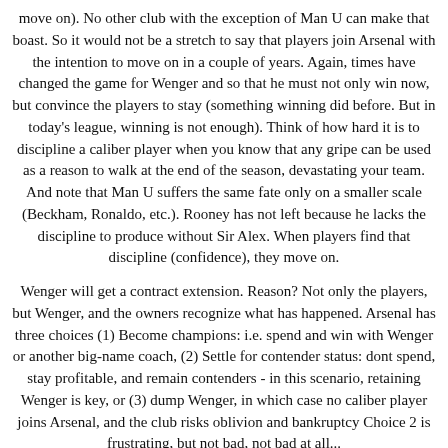move on). No other club with the exception of Man U can make that boast. So it would not be a stretch to say that players join Arsenal with the intention to move on in a couple of years. Again, times have changed the game for Wenger and so that he must not only win now, but convince the players to stay (something winning did before. But in today's league, winning is not enough). Think of how hard it is to discipline a caliber player when you know that any gripe can be used as a reason to walk at the end of the season, devastating your team. And note that Man U suffers the same fate only on a smaller scale (Beckham, Ronaldo, etc.). Rooney has not left because he lacks the discipline to produce without Sir Alex. When players find that discipline (confidence), they move on.
Wenger will get a contract extension. Reason? Not only the players, but Wenger, and the owners recognize what has happened. Arsenal has three choices (1) Become champions: i.e. spend and win with Wenger or another big-name coach, (2) Settle for contender status: dont spend, stay profitable, and remain contenders - in this scenario, retaining Wenger is key, or (3) dump Wenger, in which case no caliber player joins Arsenal, and the club risks oblivion and bankruptcy Choice 2 is frustrating, but not bad, not bad at all...